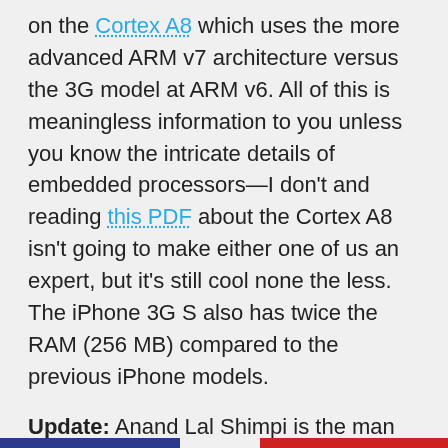on the Cortex A8 which uses the more advanced ARM v7 architecture versus the 3G model at ARM v6. All of this is meaningless information to you unless you know the intricate details of embedded processors—I don't and reading this PDF about the Cortex A8 isn't going to make either one of us an expert, but it's still cool none the less. The iPhone 3G S also has twice the RAM (256 MB) compared to the previous iPhone models.
Update: Anand Lal Shimpi is the man and goes into great detail explaining the new processor.
[View more tear down photos]